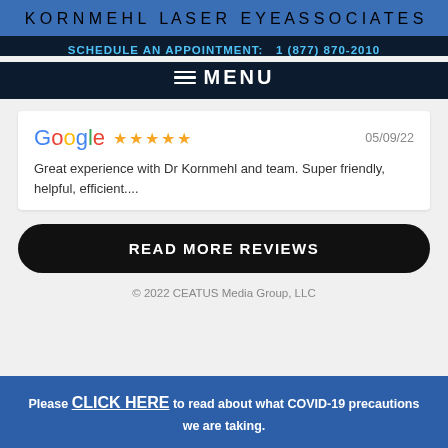KORNMEHL LASER EYE ASSOCIATES
SCHEDULE AN APPOINTMENT:  1 (877) 870-2010
≡ MENU
Google ★★★★★   05/09/22
Great experience with Dr Kornmehl and team. Super friendly, helpful, efficient....
READ MORE REVIEWS
© 2022 CEATUS Media Group, LLC
Please CLICK HERE to read about what COVID-19 precautions we are taking.